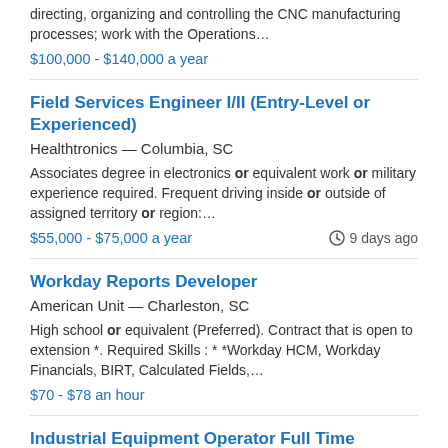directing, organizing and controlling the CNC manufacturing processes; work with the Operations…
$100,000 - $140,000 a year
Field Services Engineer I/II (Entry-Level or Experienced)
Healthtronics — Columbia, SC
Associates degree in electronics or equivalent work or military experience required. Frequent driving inside or outside of assigned territory or region:…
$55,000 - $75,000 a year
9 days ago
Workday Reports Developer
American Unit — Charleston, SC
High school or equivalent (Preferred). Contract that is open to extension *. Required Skills : * *Workday HCM, Workday Financials, BIRT, Calculated Fields,…
$70 - $78 an hour
Industrial Equipment Operator Full Time
Darling Ingredients — Ward, SC
High school diploma or equivalent. This is a pivotal role…